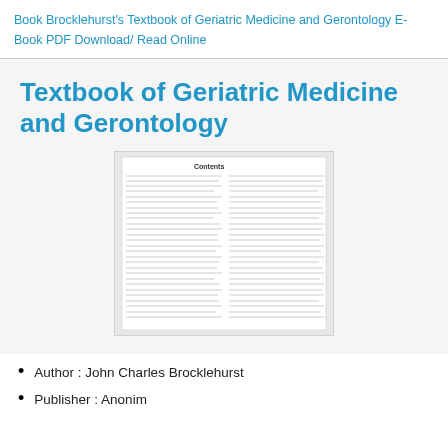Book Brocklehurst's Textbook of Geriatric Medicine and Gerontology E-Book PDF Download/ Read Online
Textbook of Geriatric Medicine and Gerontology
[Figure (photo): Table of contents image from Textbook of Geriatric Medicine and Gerontology]
Author : John Charles Brocklehurst
Publisher : Anonim